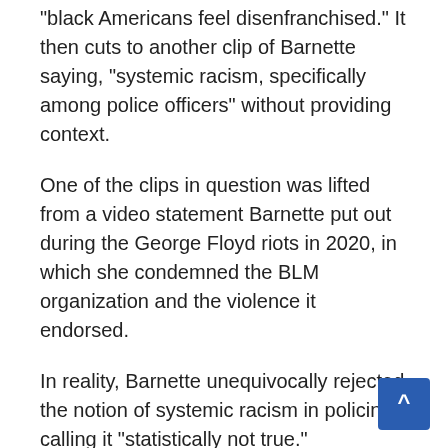“black Americans feel disenfranchised.” It then cuts to another clip of Barnette saying, “systemic racism, specifically among police officers” without providing context.
One of the clips in question was lifted from a video statement Barnette put out during the George Floyd riots in 2020, in which she condemned the BLM organization and the violence it endorsed.
In reality, Barnette unequivocally rejected the notion of systemic racism in policing, calling it “statistically not true.”
“I reject that. And I don’t reject it because I feel like that’s not true. I reject it because it is — statistically not true.” Barnette said. Barnette has also directly